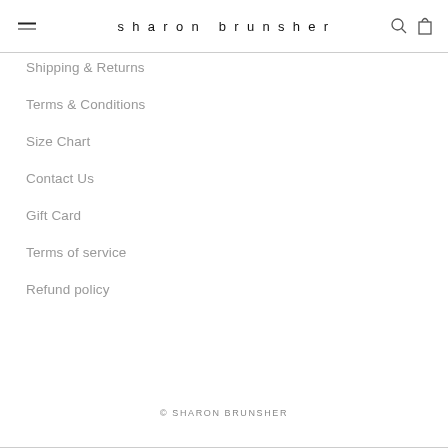sharon brunsher
Shipping & Returns
Terms & Conditions
Size Chart
Contact Us
Gift Card
Terms of service
Refund policy
© SHARON BRUNSHER